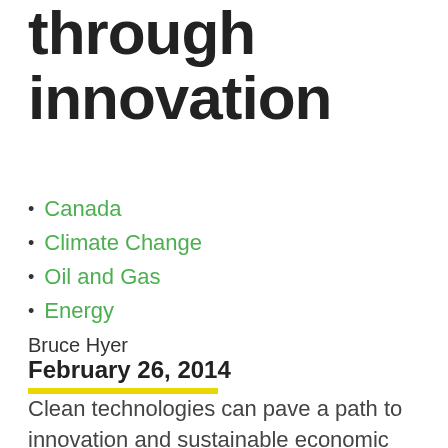through innovation
Canada
Climate Change
Oil and Gas
Energy
Bruce Hyer
February 26, 2014
Clean technologies can pave a path to innovation and sustainable economic growth.